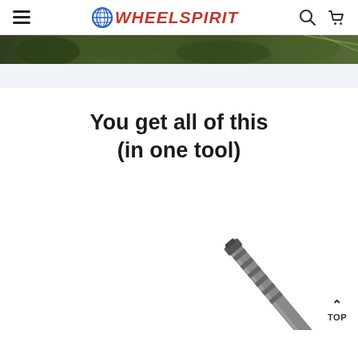WHEELSPIRIT
[Figure (photo): Outdoor/nature background banner image with green foliage]
You get all of this (in one tool)
[Figure (photo): A multi-tool or telescoping rod product shown diagonally from lower-left to upper-right against white background]
TOP